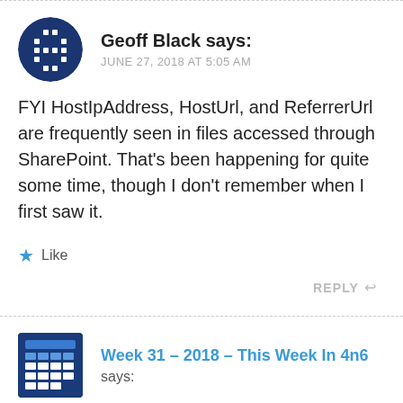Geoff Black says:
JUNE 27, 2018 AT 5:05 AM
FYI HostIpAddress, HostUrl, and ReferrerUrl are frequently seen in files accessed through SharePoint. That’s been happening for quite some time, though I don’t remember when I first saw it.
★ Like
REPLY ↩
Week 31 – 2018 – This Week In 4n6 says: